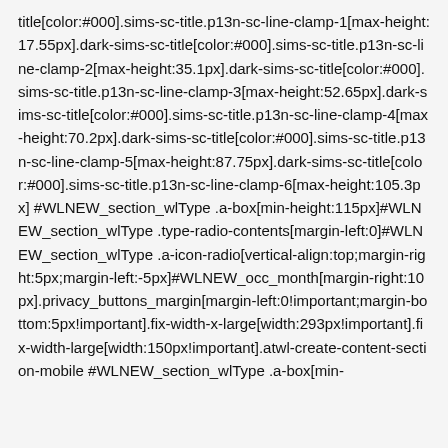title[color:#000].sims-sc-title.p13n-sc-line-clamp-1[max-height:17.55px].dark-sims-sc-title[color:#000].sims-sc-title.p13n-sc-line-clamp-2[max-height:35.1px].dark-sims-sc-title[color:#000].sims-sc-title.p13n-sc-line-clamp-3[max-height:52.65px].dark-sims-sc-title[color:#000].sims-sc-title.p13n-sc-line-clamp-4[max-height:70.2px].dark-sims-sc-title[color:#000].sims-sc-title.p13n-sc-line-clamp-5[max-height:87.75px].dark-sims-sc-title[color:#000].sims-sc-title.p13n-sc-line-clamp-6[max-height:105.3px] #WLNEW_section_wlType .a-box[min-height:115px]#WLNEW_section_wlType .type-radio-contents[margin-left:0]#WLNEW_section_wlType .a-icon-radio[vertical-align:top;margin-right:5px;margin-left:-5px]#WLNEW_occ_month[margin-right:10px].privacy_buttons_margin[margin-left:0!important;margin-bottom:5px!important].fix-width-x-large[width:293px!important].fix-width-large[width:150px!important].atwl-create-content-section-mobile #WLNEW_section_wlType .a-box[min-